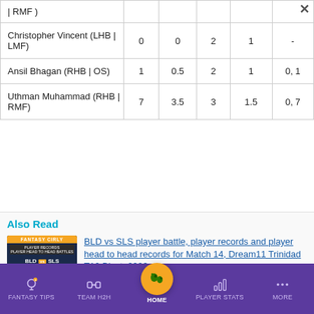| Player |  |  |  |  |  |
| --- | --- | --- | --- | --- | --- |
| | RMF ) |  |  |  |  |  |
| Christopher Vincent (LHB | LMF) | 0 | 0 | 2 | 1 | - |
| Ansil Bhagan (RHB | OS) | 1 | 0.5 | 2 | 1 | 0, 1 |
| Uthman Muhammad (RHB | RMF) | 7 | 3.5 | 3 | 1.5 | 0, 7 |
Also Read
BLD vs SLS player battle, player records and player head to head records for Match 14, Dream11 Trinidad T10 Blast, 2022
FANTASY TIPS  TEAM H2H  HOME  PLAYER STATS  MORE